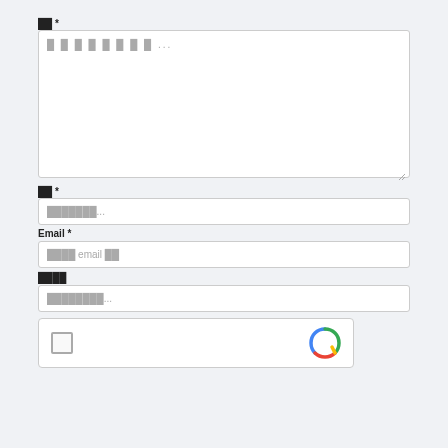██████████ ██████████ ████2 ██
██ *
█ █ █ █ █ █ █ █ ...
██ *
███████...
Email *
████ email ██
████
████████...
[Figure (screenshot): reCAPTCHA widget with checkbox and logo]